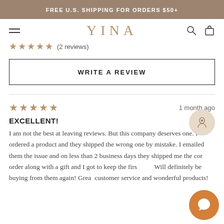FREE U.S. SHIPPING FOR ORDERS $50+
YINA
★★★★★ (2 reviews)
WRITE A REVIEW
★★★★★ 1 month ago
EXCELLENT!
I am not the best at leaving reviews. But this company deserves one. I ordered a product and they shipped the wrong one by mistake. I emailed them the issue and on less than 2 business days they shipped me the correct order along with a gift and I got to keep the first one! Will definitely be buying from them again! Great customer service and wonderful products!